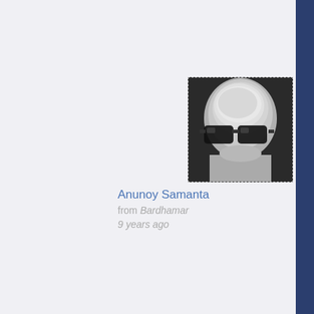[Figure (photo): Profile photo of a person wearing sunglasses, black and white/grayscale image, partially cropped by page edge]
Anunoy Samanta
from Bardhamar
9 years ago